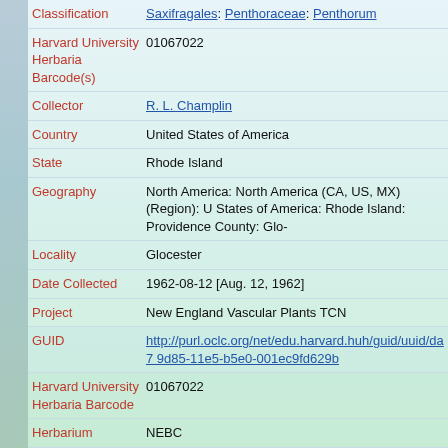| Field | Value |
| --- | --- |
| Classification | Saxifragales: Penthoraceae: Penthorum |
| Harvard University Herbaria Barcode(s) | 01067022 |
| Collector | R. L. Champlin |
| Country | United States of America |
| State | Rhode Island |
| Geography | North America: North America (CA, US, MX) (Region): United States of America: Rhode Island: Providence County: Glocester |
| Locality | Glocester |
| Date Collected | 1962-08-12 [Aug. 12, 1962] |
| Project | New England Vascular Plants TCN |
| GUID | http://purl.oclc.org/net/edu.harvard.huh/guid/uuid/da7...9d85-11e5-b5e0-001ec9fd629b |
| Harvard University Herbaria Barcode | 01067022 |
| Herbarium | NEBC |
| Family | Penthoraceae |
| Determination | Penthorum sedoides Linnaeus |